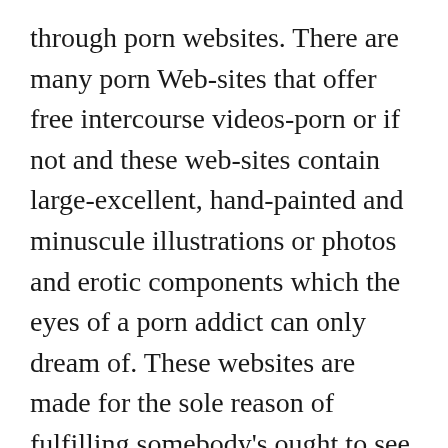through porn websites. There are many porn Web-sites that offer free intercourse videos-porn or if not and these web-sites contain large-excellent, hand-painted and minuscule illustrations or photos and erotic components which the eyes of a porn addict can only dream of. These websites are made for the sole reason of fulfilling somebody's ought to see and look at one of the most shameful types of intercourse, occasionally even before they may have tasted them.
As an illustration, if a man really wants to watch porn movies, he ought to head to